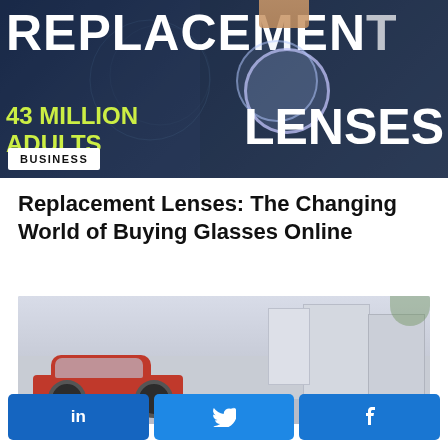[Figure (photo): Banner image with dark blue background showing a hand holding a clear lens, large bold text reading REPLACEMENT in white at the top, LENSES in white at the right, 43 MILLION ADULTS in yellow-green at the lower left, and a white BUSINESS badge label in the bottom-left corner.]
Replacement Lenses: The Changing World of Buying Glasses Online
[Figure (photo): Photo of a red car parked in front of modern grey concrete buildings.]
[Figure (infographic): Social sharing bar with three blue buttons: LinkedIn (in), Twitter (bird icon), and Facebook (f icon).]